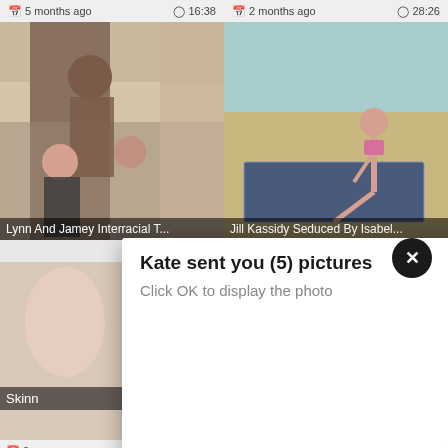5 months ago   16:38
2 months ago   28:26
[Figure (photo): Video thumbnail - Lynn And Jamey Interracial T...]
Lynn And Jamey Interracial T...
[Figure (photo): Video thumbnail - Jill Kassidy Seduced By Isabel...]
Jill Kassidy Seduced By Isabel...
[Figure (screenshot): Modal dialog: Kate sent you (5) pictures. Click OK to display the photo. Large blue Ok button.]
Kate sent you (5) pictures
Click OK to display the photo
Ok
Ok
[Figure (photo): Partial thumbnail bottom left - Skinn...]
Skinn
[Figure (photo): Partial thumbnail bottom right - vit...]
vit...
cj4
2 m
6:00